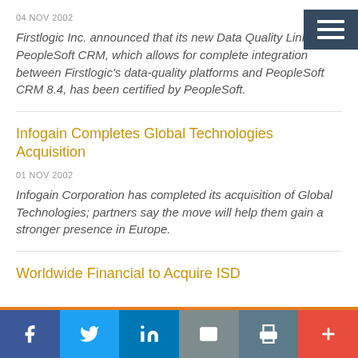04 NOV 2002
Firstlogic Inc. announced that its new Data Quality Link for PeopleSoft CRM, which allows for complete integration between Firstlogic's data-quality platforms and PeopleSoft CRM 8.4, has been certified by PeopleSoft.
Infogain Completes Global Technologies Acquisition
01 NOV 2002
Infogain Corporation has completed its acquisition of Global Technologies; partners say the move will help them gain a stronger presence in Europe.
Worldwide Financial to Acquire ISD